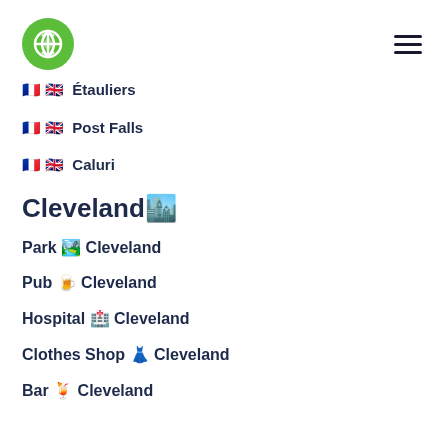Logo and hamburger menu
🇫🇷 🇬🇧 Étauliers
🇫🇷 🇬🇧 Post Falls
🇫🇷 🇬🇧 Caluri
Cleveland🏙️
Park 🏞️ Cleveland
Pub 🍺 Cleveland
Hospital 🏥 Cleveland
Clothes Shop 👗 Cleveland
Bar 🍹 Cleveland